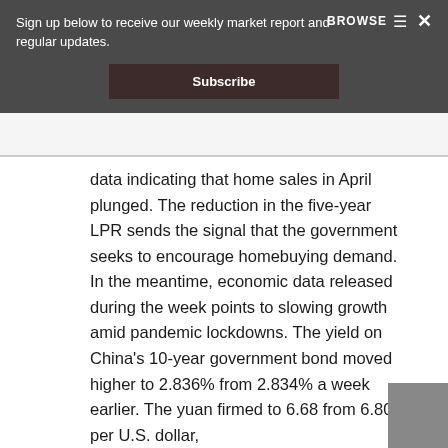Sign up below to receive our weekly market report and regular updates.
Subscribe
BROWSE
data indicating that home sales in April plunged. The reduction in the five-year LPR sends the signal that the government seeks to encourage homebuying demand. In the meantime, economic data released during the week points to slowing growth amid pandemic lockdowns. The yield on China’s 10-year government bond moved higher to 2.836% from 2.834% a week earlier. The yuan firmed to 6.68 from 6.80 per U.S. dollar,